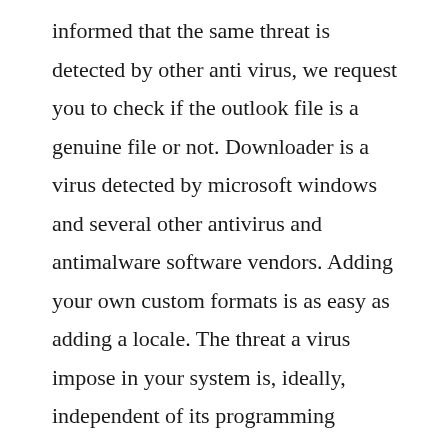informed that the same threat is detected by other anti virus, we request you to check if the outlook file is a genuine file or not. Downloader is a virus detected by microsoft windows and several other antivirus and antimalware software vendors. Adding your own custom formats is as easy as adding a locale. The threat a virus impose in your system is, ideally, independent of its programming language because viruses exploit vulnerabilities in operating systems, applications, apis etc. Avg identified the virus as residing in a cache file in a folder adblock,